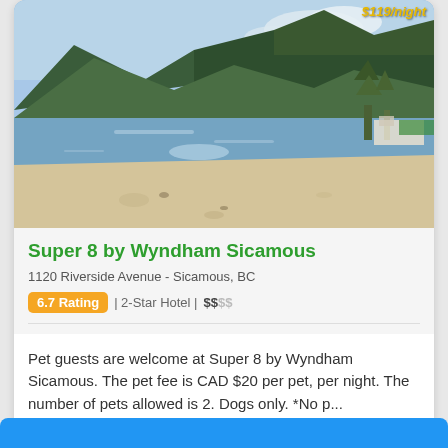[Figure (photo): Scenic lake with sandy beach, mountains covered in forests in the background, clear sky with some clouds. A lakeside resort area is visible in the distance.]
Super 8 by Wyndham Sicamous
1120 Riverside Avenue - Sicamous, BC
6.7 Rating | 2-Star Hotel | $$$$
Pet guests are welcome at Super 8 by Wyndham Sicamous. The pet fee is CAD $20 per pet, per night. The number of pets allowed is 2. Dogs only. *No p...